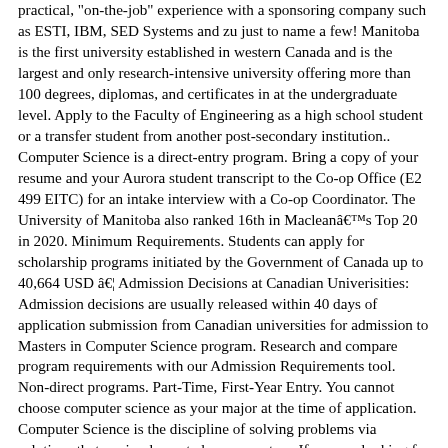practical, "on-the-job" experience with a sponsoring company such as ESTI, IBM, SED Systems and zu just to name a few! Manitoba is the first university established in western Canada and is the largest and only research-intensive university offering more than 100 degrees, diplomas, and certificates in at the undergraduate level. Apply to the Faculty of Engineering as a high school student or a transfer student from another post-secondary institution.. Computer Science is a direct-entry program. Bring a copy of your resume and your Aurora student transcript to the Co-op Office (E2 499 EITC) for an intake interview with a Co-op Coordinator. The University of Manitoba also ranked 16th in Macleanâs Top 20 in 2020. Minimum Requirements. Students can apply for scholarship programs initiated by the Government of Canada up to 40,664 USD â¦ Admission Decisions at Canadian Univerisities: Admission decisions are usually released within 40 days of application submission from Canadian universities for admission to Masters in Computer Science program. Research and compare program requirements with our Admission Requirements tool. Non-direct programs. Part-Time, First-Year Entry. You cannot choose computer science as your major at the time of application. Computer Science is the discipline of solving problems via solutions that are implemented on computers. If you are looking for graduate school opportunities, please visit the School of Graduate Studies website. The University of Manitoba ( U of M) is a public research university established in the year 1877. 557